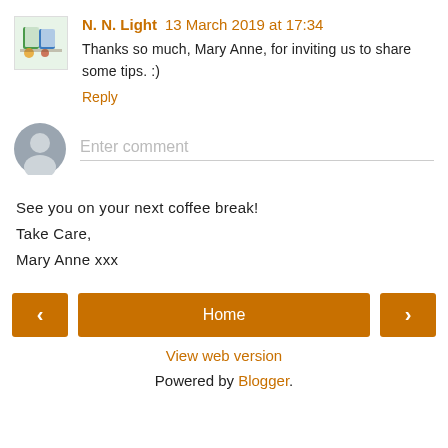N. N. Light 13 March 2019 at 17:34
Thanks so much, Mary Anne, for inviting us to share some tips. :)
Reply
Enter comment
See you on your next coffee break!
Take Care,
Mary Anne xxx
< Home >
View web version
Powered by Blogger.